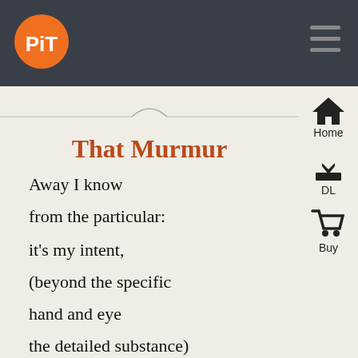[Figure (logo): PiT logo: orange circle with white 'PiT' text, on dark nav bar]
Navigation bar with PiT logo and hamburger menu
That Murmur
Away I know
from the particular:
it's my intent,
(beyond the specific
hand and eye
the detailed substance)